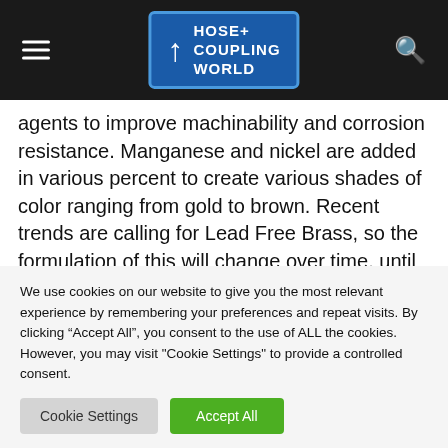Hose+ Coupling World
agents to improve machinability and corrosion resistance. Manganese and nickel are added in various percent to create various shades of color ranging from gold to brown. Recent trends are calling for Lead Free Brass, so the formulation of this will change over time, until it is entirely without lead.
Fitting Manufacturers each have established their
We use cookies on our website to give you the most relevant experience by remembering your preferences and repeat visits. By clicking “Accept All”, you consent to the use of ALL the cookies. However, you may visit "Cookie Settings" to provide a controlled consent.